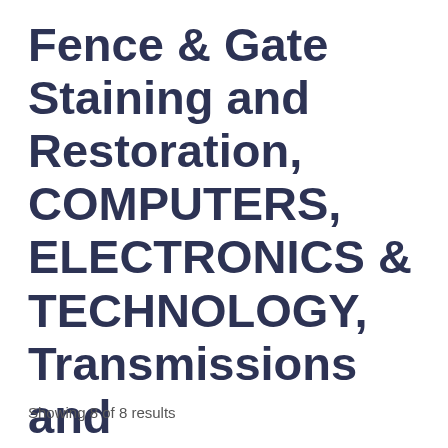Fence & Gate Staining and Restoration, COMPUTERS, ELECTRONICS & TECHNOLOGY, Transmissions and Gutters
Showing 8 of 8 results